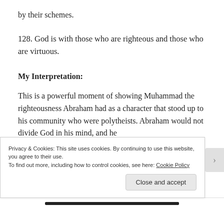by their schemes.
128. God is with those who are righteous and those who are virtuous.
My Interpretation:
This is a powerful moment of showing Muhammad the righteousness Abraham had as a character that stood up to his community who were polytheists. Abraham would not divide God in his mind, and he
Privacy & Cookies: This site uses cookies. By continuing to use this website, you agree to their use.
To find out more, including how to control cookies, see here: Cookie Policy
Close and accept